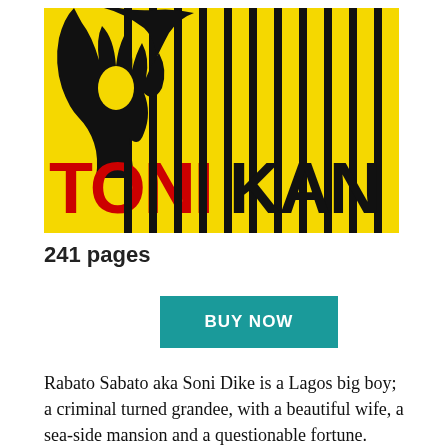[Figure (illustration): Book cover for TONI KAN. Yellow background with vertical black stripes. Large black silhouette of a hand at top left. Bold black text 'TONI KAN' with 'TONI' in red partially visible at bottom. Black and yellow graphic design style.]
241 pages
BUY NOW
Rabato Sabato aka Soni Dike is a Lagos big boy; a criminal turned grandee, with a beautiful wife, a sea-side mansion and a questionable fortune. Then one day he disappears and his car is found in a ditch, music blaring from the speakers. Soni's